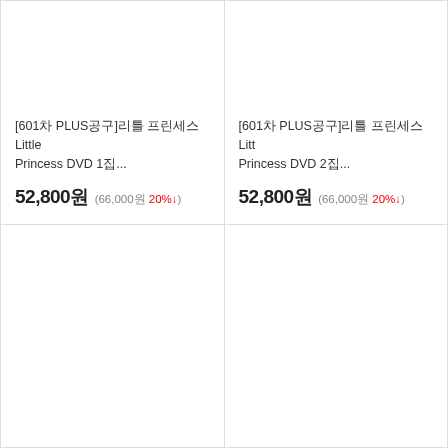[601차 PLUS공구]리틀 프린세스 Little Princess DVD 1집...
52,800원 (66,000원 20%↓)
[601차 PLUS공구]리틀 프린세스 Little Princess DVD 2집...
52,800원 (66,000원 20%↓)